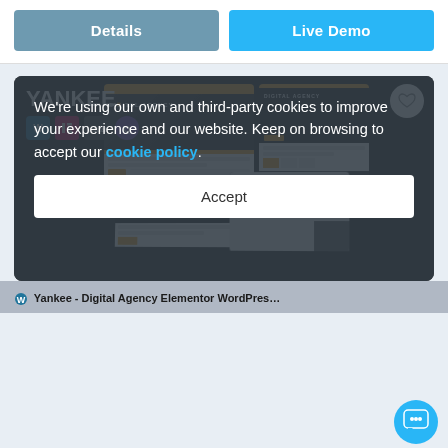[Figure (screenshot): Two buttons: 'Details' (slate blue) and 'Live Demo' (sky blue) on white background]
[Figure (screenshot): YANKEE. digital agency Elementor WordPress theme card with dark background, plugin icons (WordPress, Elementor, Visual Composer, Quill), and multiple screenshot mockups showing DIGITAL AGENCY pages with orange accents. Heart/favorite icon in top right corner.]
We're using our own and third-party cookies to improve your experience and our website. Keep on browsing to accept our cookie policy.
Accept
Yankee - Digital Agency Elementor WordPress